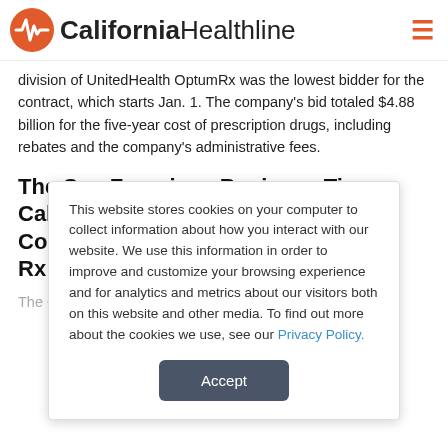California Healthline
division of UnitedHealth OptumRx was the lowest bidder for the contract, which starts Jan. 1. The company's bid totaled $4.88 billion for the five-year cost of prescription drugs, including rebates and the company's administrative fees.
The San Francisco Business Times: CalPERS Awards $4.9 Billion PBM Contract, As It Scrambles To Control Rx Drug Costs
The California Public Employees Retirement System has
This website stores cookies on your computer to collect information about how you interact with our website. We use this information in order to improve and customize your browsing experience and for analytics and metrics about our visitors both on this website and other media. To find out more about the cookies we use, see our Privacy Policy.